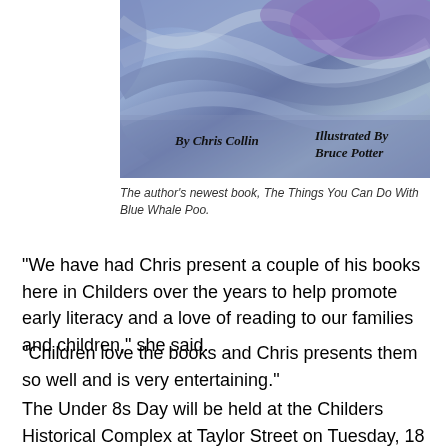[Figure (illustration): Book cover of 'The Things You Can Do With Blue Whale Poo' showing swirling blue and purple abstract background with text 'By Chris Collin' and 'Illustrated By Bruce Potter']
The author's newest book, The Things You Can Do With Blue Whale Poo.
“We have had Chris present a couple of his books here in Childers over the years to help promote early literacy and a love of reading to our families and children,” she said.
“Children love the books and Chris presents them so well and is very entertaining.”
The Under 8s Day will be held at the Childers Historical Complex at Taylor Street on Tuesday, 18 May from 9.30am to 11.30am